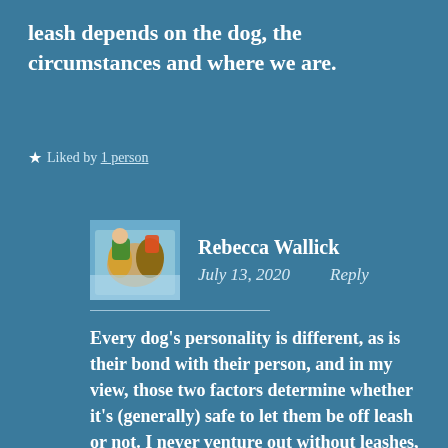leash depends on the dog, the circumstances and where we are.
★ Liked by 1 person
Rebecca Wallick
July 13, 2020   Reply
Every dog's personality is different, as is their bond with their person, and in my view, those two factors determine whether it's (generally) safe to let them be off leash or not. I never venture out without leashes, but because of where I live and the dogs I live with, I rarely